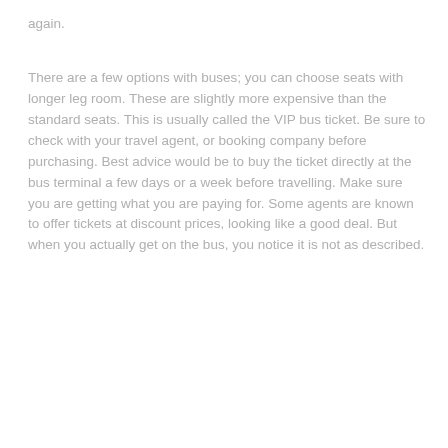again.
There are a few options with buses; you can choose seats with longer leg room. These are slightly more expensive than the standard seats. This is usually called the VIP bus ticket. Be sure to check with your travel agent, or booking company before purchasing. Best advice would be to buy the ticket directly at the bus terminal a few days or a week before travelling. Make sure you are getting what you are paying for. Some agents are known to offer tickets at discount prices, looking like a good deal. But when you actually get on the bus, you notice it is not as described.